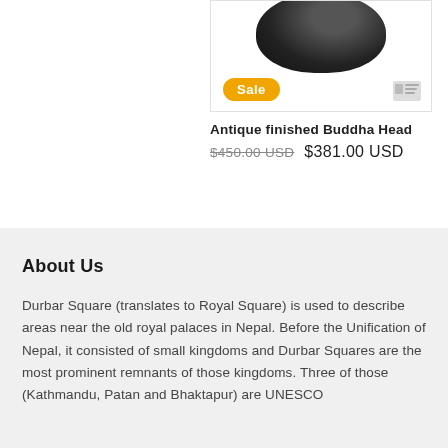[Figure (photo): Product card showing antique finished Buddha Head sculpture with a Sale badge overlay and icon. The product image shows a dark rounded Buddha head shape.]
Antique finished Buddha Head
$450.00 USD  $381.00 USD
About Us
Durbar Square (translates to Royal Square) is used to describe areas near the old royal palaces in Nepal. Before the Unification of Nepal, it consisted of small kingdoms and Durbar Squares are the most prominent remnants of those kingdoms. Three of those (Kathmandu, Patan and Bhaktapur) are UNESCO